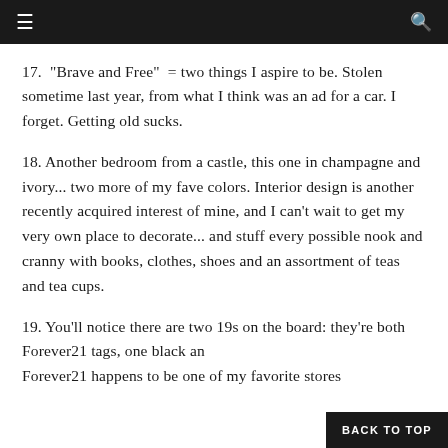navigation bar with hamburger menu and search icon
17.  "Brave and Free"  = two things I aspire to be. Stolen sometime last year, from what I think was an ad for a car. I forget. Getting old sucks.
18. Another bedroom from a castle, this one in champagne and ivory... two more of my fave colors. Interior design is another recently acquired interest of mine, and I can't wait to get my very own place to decorate... and stuff every possible nook and cranny with books, clothes, shoes and an assortment of teas and tea cups.
19. You'll notice there are two 19s on the board: they're both Forever21 tags, one black an Forever21 happens to be one of my favorite stores
BACK TO TOP